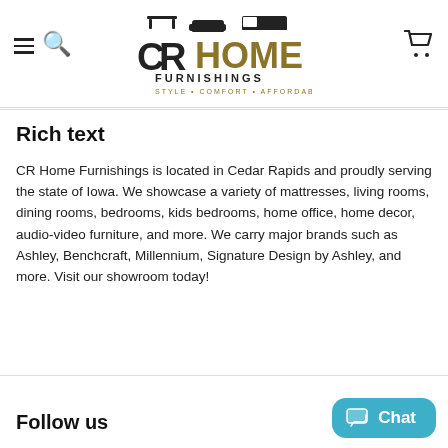CR Home Furnishings — navigation header with hamburger menu, search, logo, and cart icons
[Figure (logo): CR Home Furnishings logo with furniture icons above text. Large stylized 'CR' in black followed by 'HOME' in dark gold/olive, 'FURNISHINGS' in black, and tagline 'STYLE • COMFORT • AFFORDABLE' in gold.]
Rich text
CR Home Furnishings is located in Cedar Rapids and proudly serving the state of Iowa. We showcase a variety of mattresses, living rooms, dining rooms, bedrooms, kids bedrooms, home office, home decor, audio-video furniture, and more. We carry major brands such as Ashley, Benchcraft, Millennium, Signature Design by Ashley, and more. Visit our showroom today!
Follow us